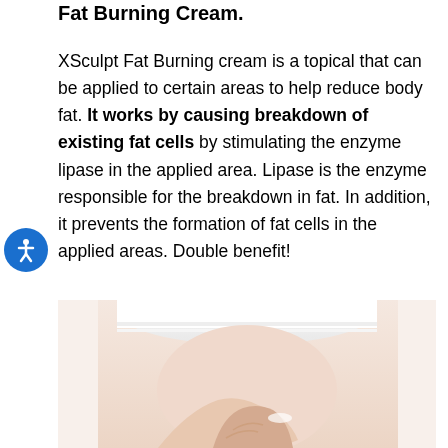Fat Burning Cream.
XSculpt Fat Burning cream is a topical that can be applied to certain areas to help reduce body fat. It works by causing breakdown of existing fat cells by stimulating the enzyme lipase in the applied area. Lipase is the enzyme responsible for the breakdown in fat. In addition, it prevents the formation of fat cells in the applied areas. Double benefit!
[Figure (photo): Close-up photo of a person's midsection wearing a white crop top, with a hand touching the skin near the abdomen area, on a white background.]